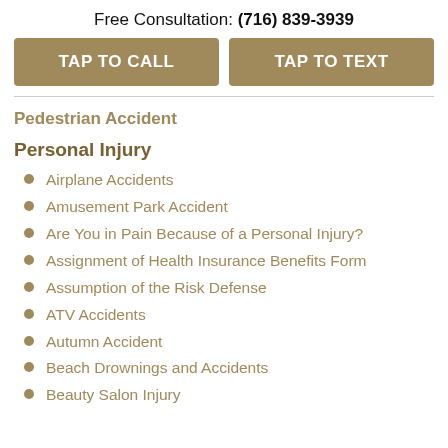Free Consultation: (716) 839-3939
TAP TO CALL
TAP TO TEXT
Pedestrian Accident
Personal Injury
Airplane Accidents
Amusement Park Accident
Are You in Pain Because of a Personal Injury?
Assignment of Health Insurance Benefits Form
Assumption of the Risk Defense
ATV Accidents
Autumn Accident
Beach Drownings and Accidents
Beauty Salon Injury